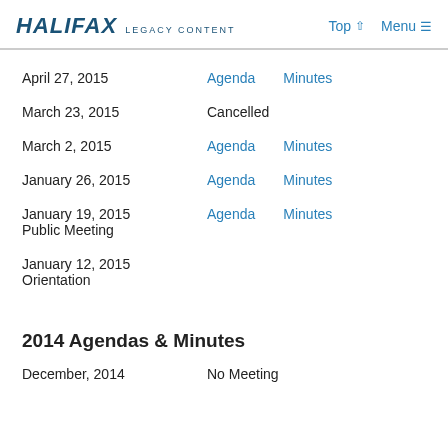HALIFAX LEGACY CONTENT   Top ↑   Menu ≡
April 27, 2015   Agenda   Minutes
March 23, 2015   Cancelled
March 2, 2015   Agenda   Minutes
January 26, 2015   Agenda   Minutes
January 19, 2015
Public Meeting   Agenda   Minutes
January 12, 2015
Orientation
2014 Agendas & Minutes
December, 2014   No Meeting